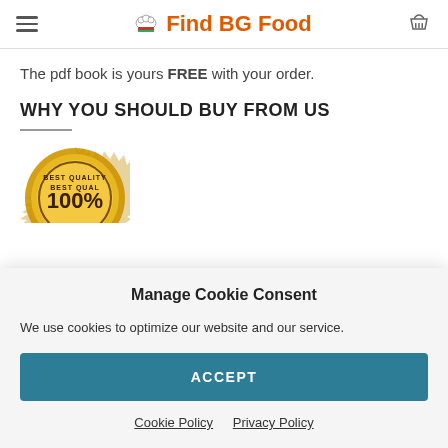Find BG Food
The pdf book is yours FREE with your order.
WHY YOU SHOULD BUY FROM US
[Figure (illustration): Gold quality badge/seal with text 'BEST QUALITY' and '100%']
Manage Cookie Consent
We use cookies to optimize our website and our service.
ACCEPT
Cookie Policy  Privacy Policy